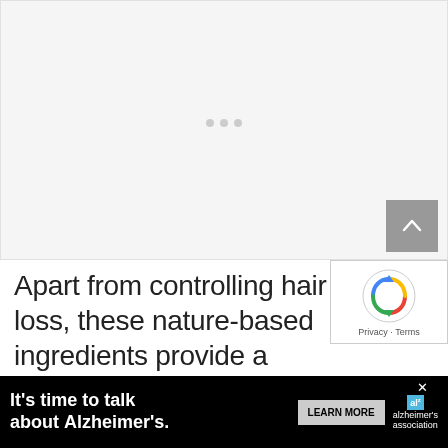[Figure (other): Gray placeholder image area with three dots indicating a loading carousel]
Apart from controlling hair loss, these nature-based ingredients provide a plethora of benefits for your hair and scalp. The enriching formula of coconut a...
[Figure (other): reCAPTCHA badge with logo, Privacy and Terms links]
[Figure (other): Advertisement banner: It's time to talk about Alzheimer's. LEARN MORE. Alzheimer's Association logo.]